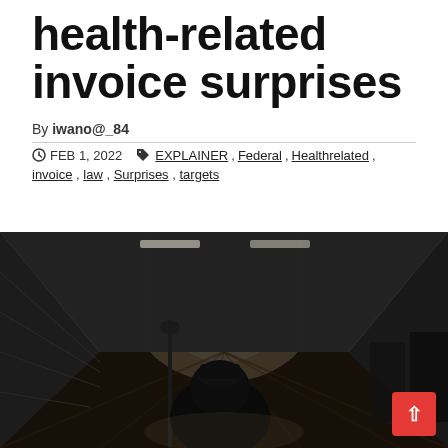health-related invoice surprises
By iwano@_84
FEB 1, 2022  EXPLAINER, Federal, Healthrelated, invoice, law, Surprises, targets
[Figure (photo): Dark silhouette of a person in a hospital hallway corridor, backlit by bright light from windows at the end of the hall. The hallway has tiled walls and a wooden floor.]